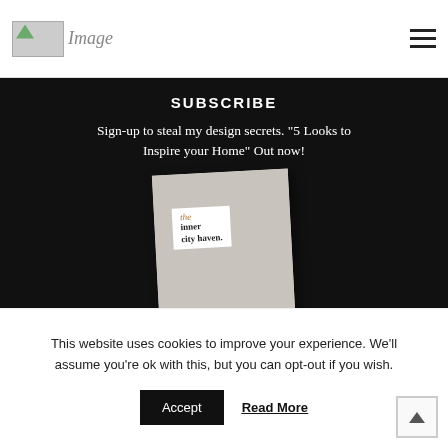[Figure (logo): Broken image icon with text 'Image' representing a website logo placeholder]
[Figure (infographic): Hamburger menu icon (three horizontal lines) in top right corner]
SUBSCRIBE
Sign-up to steal my design secrets. "5 Looks to Inspire your Home" Out now!
[Figure (photo): Book cover for 'the inner city haven.' showing an interior design image with dining furniture]
This website uses cookies to improve your experience. We'll assume you're ok with this, but you can opt-out if you wish.
Accept
Read More